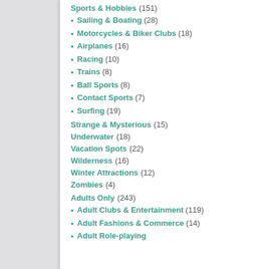Sports & Hobbies (151)
Sailing & Boating (28)
Motorcycles & Biker Clubs (18)
Airplanes (16)
Racing (10)
Trains (8)
Ball Sports (8)
Contact Sports (7)
Surfing (19)
Strange & Mysterious (15)
Underwater (18)
Vacation Spots (22)
Wilderness (16)
Winter Attractions (12)
Zombies (4)
Adults Only (243)
Adult Clubs & Entertainment (119)
Adult Fashions & Commerce (14)
Adult Role-playing